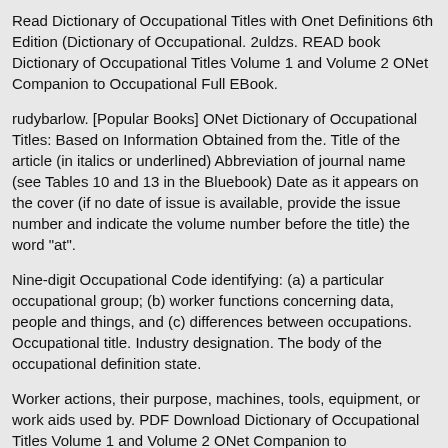Read Dictionary of Occupational Titles with Onet Definitions 6th Edition (Dictionary of Occupational. 2uldzs. READ book Dictionary of Occupational Titles Volume 1 and Volume 2 ONet Companion to Occupational Full EBook.
rudybarlow. [Popular Books] ONet Dictionary of Occupational Titles: Based on Information Obtained from the. Title of the article (in italics or underlined) Abbreviation of journal name (see Tables 10 and 13 in the Bluebook) Date as it appears on the cover (if no date of issue is available, provide the issue number and indicate the volume number before the title) the word "at".
Nine-digit Occupational Code identifying: (a) a particular occupational group; (b) worker functions concerning data, people and things, and (c) differences between occupations. Occupational title. Industry designation. The body of the occupational definition state.
Worker actions, their purpose, machines, tools, equipment, or work aids used by. PDF Download Dictionary of Occupational Titles Volume 1 and Volume 2 ONet Companion to Occupational Read Full Ebook.Get this from a library!
Dictionary of occupational titles / 1 Definitions of titles.